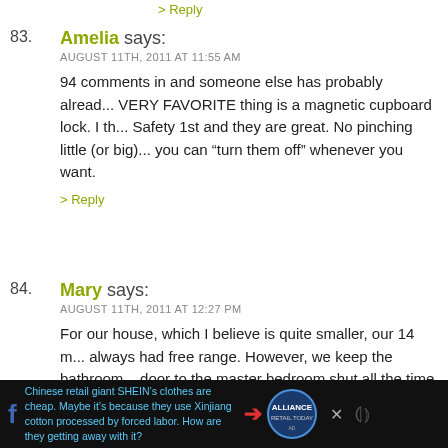> Reply
83. Amelia says:
AUGUST 11TH, 2011 AT 11:55 AM
94 comments in and someone else has probably alread... VERY FAVORITE thing is a magnetic cupboard lock. I th... Safety 1st and they are great. No pinching little (or big)... you can “turn them off” whenever you want.
> Reply
84. Mary says:
AUGUST 11TH, 2011 AT 12:27 PM
For our house, which I believe is quite smaller, our 14 m... always had free range. However, we keep the bathroom... door to the master bedroom shut all the time that he’s a... blocked the stairs with a swinging baby gate. We have p... on all low kitchen cabinets except the tupperware cabi... We plugged all outlets. After that we kind of see what i... have proceeded from them. He’s never showed interest...
Chinese retail giant SHEIN’s clothes are cheap. Maybe it’s because they use Xinjiang cotton processed by forced labor. How are they getting away with it?